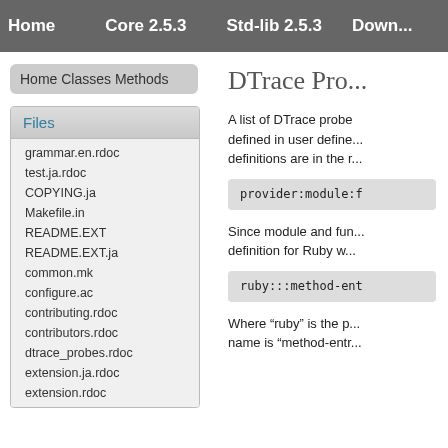Home  Core 2.5.3  Std-lib 2.5.3  Down...
Home Classes Methods
Files
grammar.en.rdoc
test.ja.rdoc
COPYING.ja
Makefile.in
README.EXT
README.EXT.ja
common.mk
configure.ac
contributing.rdoc
contributors.rdoc
dtrace_probes.rdoc
extension.ja.rdoc
extension.rdoc
DTrace Pro...
A list of DTrace probe definitions defined in user defined... definitions are in the r...
Since module and fun... definition for Ruby w...
Where "ruby" is the p... name is "method-entr...